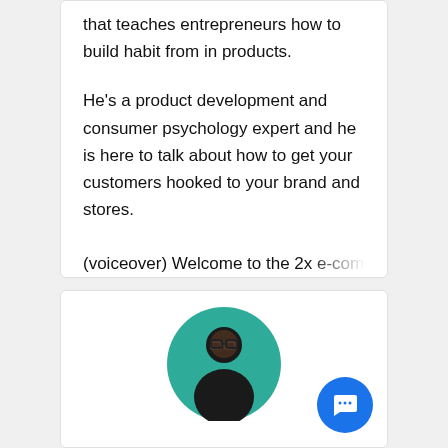that teaches entrepreneurs how to build habit from in products.
He's a product development and consumer psychology expert and he is here to talk about how to get your customers hooked to your brand and stores.
(voiceover) Welcome to the 2x e-commerce...
[Figure (photo): Circular profile photo of a man wearing glasses against a teal/green background, in black and white style]